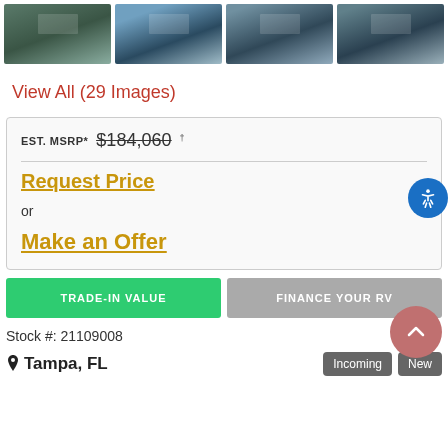[Figure (photo): Four thumbnail photos of a fifth-wheel RV trailer from different angles, parked in a dealer lot]
View All (29 Images)
EST. MSRP* $184,060 †
Request Price
or
Make an Offer
TRADE-IN VALUE
FINANCE YOUR RV
Stock #: 21109008
Tampa, FL
Incoming
New